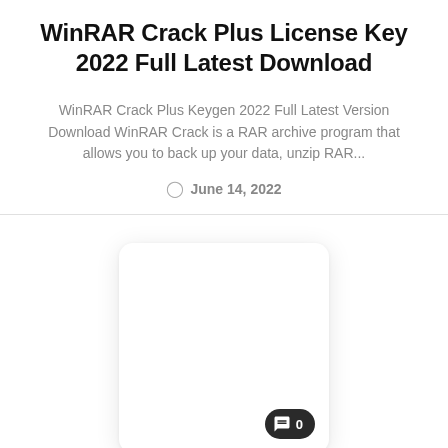WinRAR Crack Plus License Key 2022 Full Latest Download
WinRAR Crack Plus Keygen 2022 Full Latest Version Download WinRAR Crack is a RAR archive program that allows you to back up your data, unzip RAR...
June 14, 2022
[Figure (other): White card with comment badge showing 0 comments]
Softwares
WinRAR Crack 6.10 Beta 3 & Keygen F...